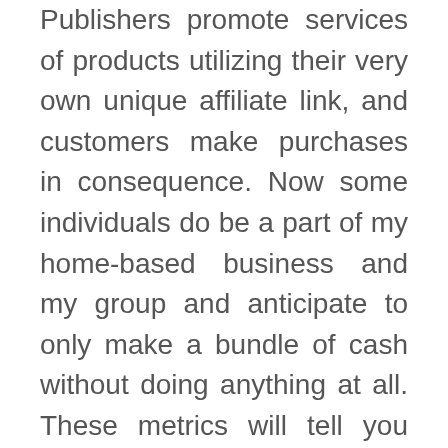Publishers promote services of products utilizing their very own unique affiliate link, and customers make purchases in consequence. Now some individuals do be a part of my home-based business and my group and anticipate to only make a bundle of cash without doing anything at all. These metrics will tell you how usually people click on your links and how often they purchase.
How are you able to inform if your marketing efforts are working? And if you've already got social media followers, profit singularity review that's nearly as good of viewers as you will get. Associates using ad applications